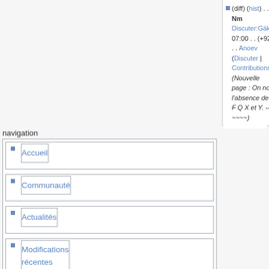(diff) (hist) . . Nm Discuter:Gäko; 07:00 . . (+92) . . Anoev (Discuter | Contributions) (Nouvelle page : On note l'absence des F Q X et Y. --~~~~)
navigation
Accueil
Communauté
Actualités
Modifications récentes
Une page au hasard
Aide
Faire un don
rechercher
boîte à outils
RSS  Atom
Envoyer un fichier
Pages spéciales